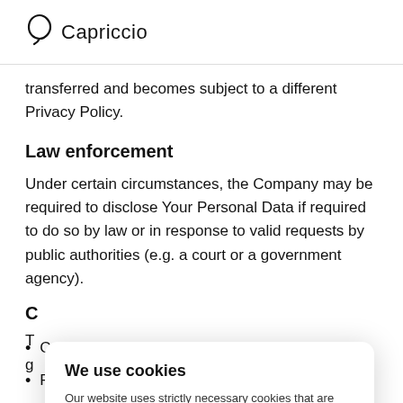Capriccio
transferred and becomes subject to a different Privacy Policy.
Law enforcement
Under certain circumstances, the Company may be required to disclose Your Personal Data if required to do so by law or in response to valid requests by public authorities (e.g. a court or a government agency).
C
T g
Company
Prevent or investigate possible wrongdoing in
[Figure (screenshot): Cookie consent popup: 'We use cookies' heading, description about strictly necessary cookies for session information, and an OK button.]